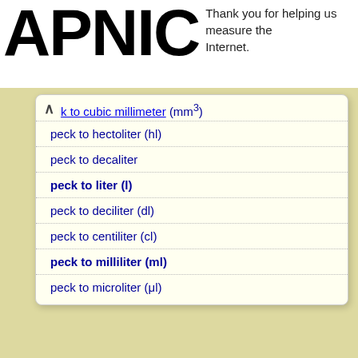APNIC — Thank you for helping us measure the Internet.
k to cubic millimeter (mm³)
peck to hectoliter (hl)
peck to decaliter
peck to liter (l)
peck to deciliter (dl)
peck to centiliter (cl)
peck to milliliter (ml)
peck to microliter (μl)